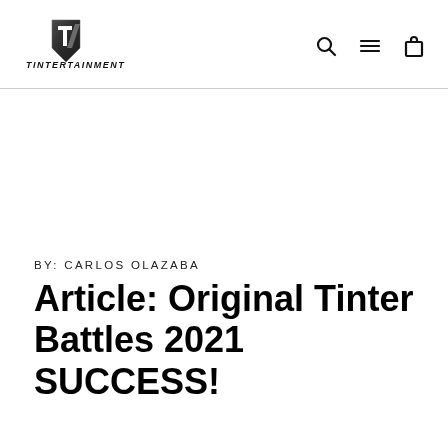[Figure (logo): Tintertainment logo with stylized 'T' emblem above the text TINTERTAINMENT in bold metallic style]
[Figure (other): Navigation icons: search (magnifying glass), hamburger menu (three lines), and shopping bag]
BY: CARLOS OLAZABA
Article: Original Tinter Battles 2021 SUCCESS!